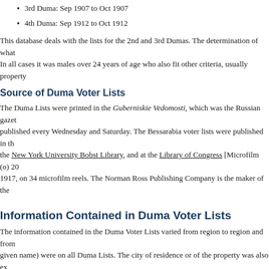3rd Duma:  Sep 1907 to Oct 1907
4th Duma:  Sep 1912 to Oct 1912
This database deals with the lists for the 2nd and 3rd Dumas.  The determination of what In all cases it was males over 24 years of age who also fit other criteria, usually property
Source of Duma Voter Lists
The Duma Lists were printed in the Guberniskie Vedomosti, which was the Russian gazet published every Wednesday and Saturday.  The Bessarabia voter lists were published in th the New York University Bobst Library, and at the Library of Congress [Microfilm (o) 20 1917, on 34 microfilm reels.  The Norman Ross Publishing Company is the maker of the
Information Contained in Duma Voter Lists
The information contained in the Duma Voter Lists varied from region to region and from given name) were on all Duma Lists.  The city of residence or of the property was also ex was implicit).  The qualification reason could be that the person was male and over 24 or business or property ownership, there was often a value of that property given in Rubles,
Transliteration Methods
In order to insure that the transliteration was done the same for all of Bessarabia, rules ha
The information was taken exactly as transliterated.  There was no attempt to cor expected.